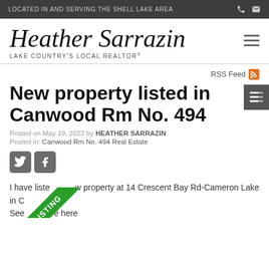LOCATED IN AND SERVING THE SHELL LAKE AREA
[Figure (logo): Heather Sarrazin - Lake Country's Local Realtor script logo]
RSS Feed
New property listed in Canwood Rm No. 494
Posted on May 19, 2022 by HEATHER SARRAZIN
Posted in: Canwood Rm No. 494 Real Estate
[Figure (illustration): Twitter and Facebook social share icons]
I have listed a new property at 14 Crescent Bay Rd-Cameron Lake in Canwood.
See more here